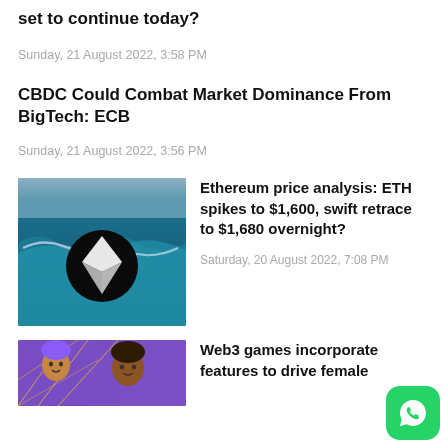set to continue today?
Sunday, 21 August 2022, 3:58 PM
CBDC Could Combat Market Dominance From BigTech: ECB
Sunday, 21 August 2022, 3:56 PM
[Figure (photo): Ocean waves with Ethereum logo overlaid in black circle with white diamond shape]
Ethereum price analysis: ETH spikes to $1,600, swift retrace to $1,680 overnight?
Saturday, 20 August 2022, 7:08 PM
[Figure (illustration): Illustrated characters with geometric purple background, partial view]
Web3 games incorporate features to drive female
[Figure (logo): WhatsApp logo on green rounded square button]